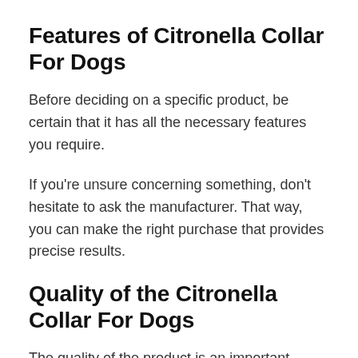Features of Citronella Collar For Dogs
Before deciding on a specific product, be certain that it has all the necessary features you require.
If you're unsure concerning something, don't hesitate to ask the manufacturer. That way, you can make the right purchase that provides precise results.
Quality of the Citronella Collar For Dogs
The quality of the product is an important factor. If you happen to get one with low-quality material